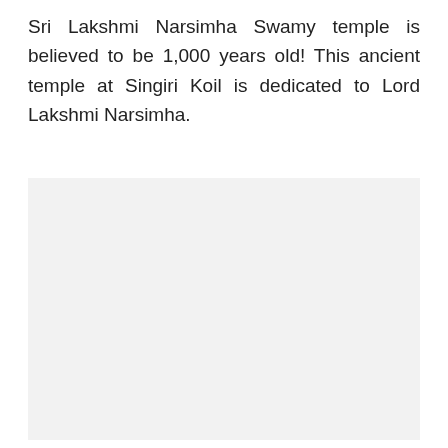Sri Lakshmi Narsimha Swamy temple is believed to be 1,000 years old! This ancient temple at Singiri Koil is dedicated to Lord Lakshmi Narsimha.
[Figure (photo): A large light gray rectangular placeholder area representing an image, likely of the Sri Lakshmi Narsimha Swamy temple.]